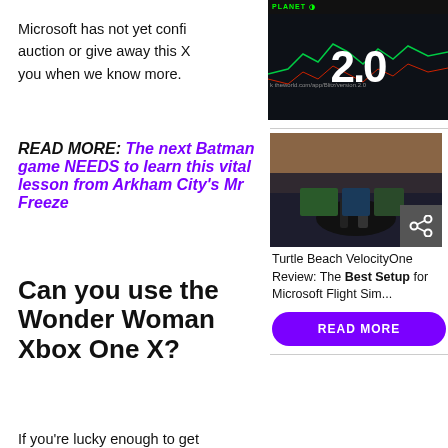Microsoft has not yet confi… auction or give away this X… you when we know more.
[Figure (screenshot): Screenshot of a stock trading chart with the number 2.0 displayed prominently in white on a dark background, with a Planet Finance logo bar at top.]
READ MORE: The next Batman game NEEDS to learn this vital lesson from Arkham City's Mr Freeze
[Figure (photo): Photo of a flight simulator cockpit setup at dusk/dawn, with control hardware and screens visible.]
Turtle Beach VelocityOne Review: The Best Setup for Microsoft Flight Sim...
READ MORE
Can you use the Wonder Woman Xbox One X?
If you're lucky enough to get